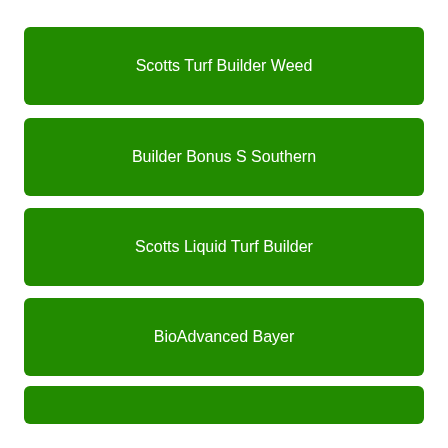Scotts Turf Builder Weed
Builder Bonus S Southern
Scotts Liquid Turf Builder
BioAdvanced Bayer